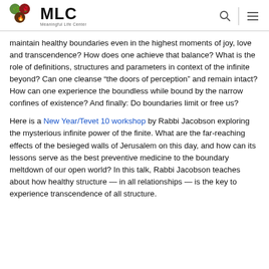MLC - Meaningful Life Center
maintain healthy boundaries even in the highest moments of joy, love and transcendence? How does one achieve that balance? What is the role of definitions, structures and parameters in context of the infinite beyond? Can one cleanse “the doors of perception” and remain intact? How can one experience the boundless while bound by the narrow confines of existence? And finally: Do boundaries limit or free us?
Here is a New Year/Tevet 10 workshop by Rabbi Jacobson exploring the mysterious infinite power of the finite. What are the far-reaching effects of the besieged walls of Jerusalem on this day, and how can its lessons serve as the best preventive medicine to the boundary meltdown of our open world? In this talk, Rabbi Jacobson teaches about how healthy structure — in all relationships — is the key to experience transcendence of all structure.